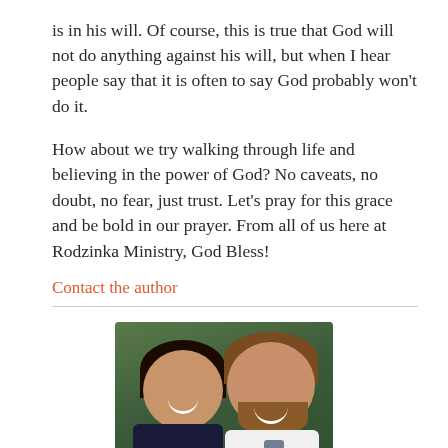is in his will. Of course, this is true that God will not do anything against his will, but when I hear people say that it is often to say God probably won't do it.
How about we try walking through life and believing in the power of God? No caveats, no doubt, no fear, just trust. Let's pray for this grace and be bold in our prayer. From all of us here at Rodzinka Ministry, God Bless!
Contact the author
[Figure (photo): A smiling couple posing together for a selfie-style photo. A woman with long dark hair on the left and a bearded man on the right wearing a white shirt and grey tie.]